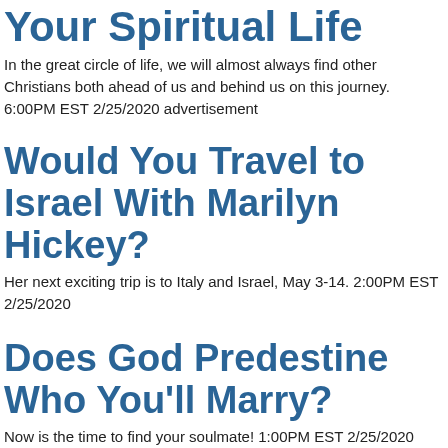Your Spiritual Life
In the great circle of life, we will almost always find other Christians both ahead of us and behind us on this journey. 6:00PM EST 2/25/2020 advertisement
Would You Travel to Israel With Marilyn Hickey?
Her next exciting trip is to Italy and Israel, May 3-14. 2:00PM EST 2/25/2020
Does God Predestine Who You'll Marry?
Now is the time to find your soulmate! 1:00PM EST 2/25/2020